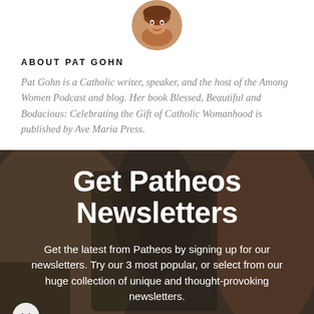[Figure (photo): Circular portrait photo of Pat Gohn, a woman with brown hair, smiling]
ABOUT PAT GOHN
Pat Gohn is a Catholic writer, speaker, and the host of the Among Women Podcast and blog. Her book Blessed, Beautiful and Bodacious: Celebrating the Gift of Catholic Womanhood is published by Ave Maria Press.
[Figure (photo): Background photo of people at a table with laptops, overlaid with text 'Get Patheos Newsletters' and subtitle about signing up for newsletters]
Get Patheos Newsletters
Get the latest from Patheos by signing up for our newsletters. Try our 3 most popular, or select from our huge collection of unique and thought-provoking newsletters.